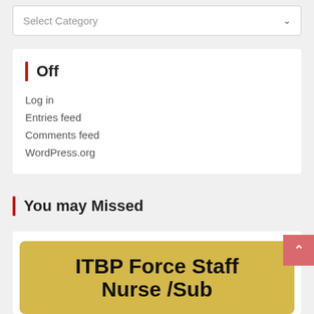Select Category
Off
Log in
Entries feed
Comments feed
WordPress.org
You may Missed
[Figure (other): ITBP Force Staff Nurse / Sub... text on a golden/yellow rounded rectangle card]